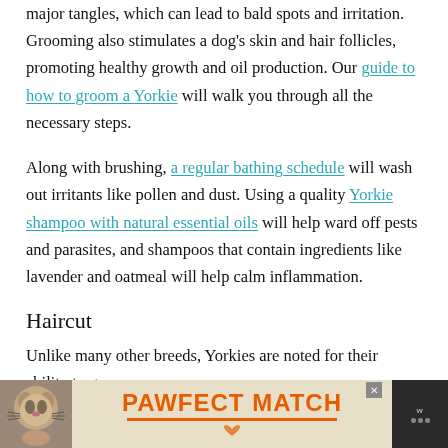major tangles, which can lead to bald spots and irritation. Grooming also stimulates a dog's skin and hair follicles, promoting healthy growth and oil production. Our guide to how to groom a Yorkie will walk you through all the necessary steps.
Along with brushing, a regular bathing schedule will wash out irritants like pollen and dust. Using a quality Yorkie shampoo with natural essential oils will help ward off pests and parasites, and shampoos that contain ingredients like lavender and oatmeal will help calm inflammation.
Haircut
Unlike many other breeds, Yorkies are noted for their ability to grow their hair to great lengths, then when call...
[Figure (infographic): Advertisement banner: PAWFECT MATCH with a cat image on the left and close button, orange text on beige background, dark logo area on right]